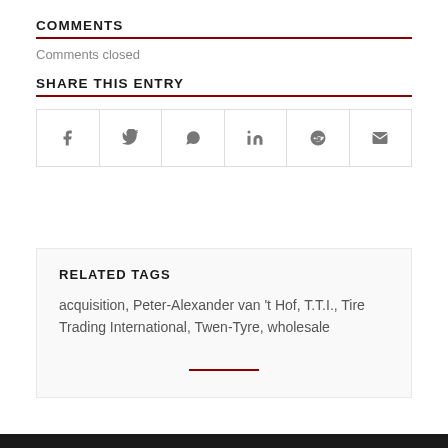COMMENTS
Comments closed
SHARE THIS ENTRY
[Figure (infographic): Six social share icon buttons in a row: Facebook, Twitter, WhatsApp, LinkedIn, Reddit, Email]
RELATED TAGS
acquisition, Peter-Alexander van 't Hof, T.T.I., Tire Trading International, Twen-Tyre, wholesale